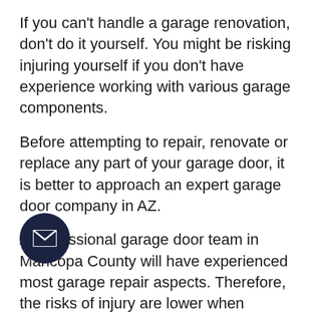If you can't handle a garage renovation, don't do it yourself. You might be risking injuring yourself if you don't have experience working with various garage components.
Before attempting to repair, renovate or replace any part of your garage door, it is better to approach an expert garage door company in AZ.
A professional garage door team in Maricopa County will have experienced most garage repair aspects. Therefore, the risks of injury are lower when compared to attempting to complete the garage makeover project by yourself without sufficient knowledge.
3) Provides Security